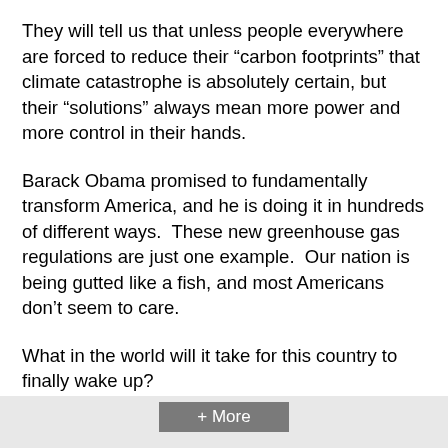They will tell us that unless people everywhere are forced to reduce their “carbon footprints” that climate catastrophe is absolutely certain, but their “solutions” always mean more power and more control in their hands.
Barack Obama promised to fundamentally transform America, and he is doing it in hundreds of different ways.  These new greenhouse gas regulations are just one example.  Our nation is being gutted like a fish, and most Americans don’t seem to care.
What in the world will it take for this country to finally wake up?